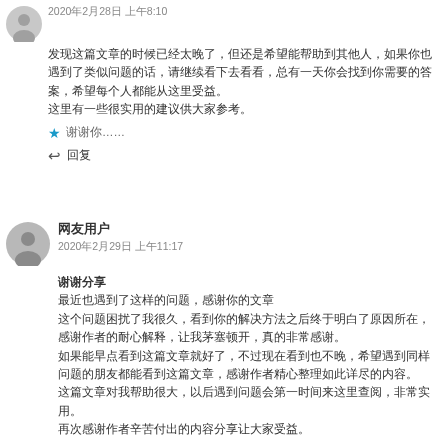2020年2月28日 上午8:10
发现这篇文章的时候已经太晚了，但还是希望能帮助到其他人，如果你也遇到了类似问题的话，请继续看下去。
★ 谢谢你……
回复
网友用户
2020年2月29日 上午11:17
谢谢分享
最近也遇到了这样的问题，感谢你的文章
这个问题困扰了我很久，看到你的解决方法之后终于明白了原因所在，感谢作者的耐心解释。
如果能早点看到这篇文章就好了，不过现在看到也不晚，希望遇到同样问题的朋友都能看到这篇文章，感谢作者的辛苦付出。
再次感谢！